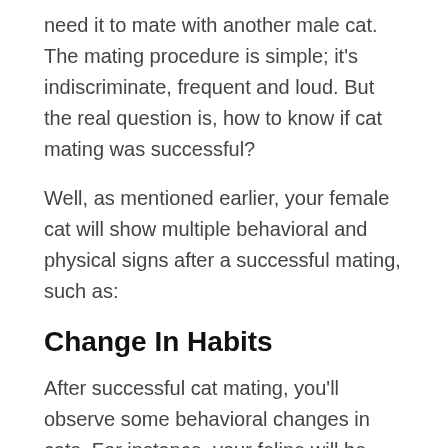need it to mate with another male cat. The mating procedure is simple; it's indiscriminate, frequent and loud. But the real question is, how to know if cat mating was successful?
Well, as mentioned earlier, your female cat will show multiple behavioral and physical signs after a successful mating, such as:
Change In Habits
After successful cat mating, you'll observe some behavioral changes in cats. For instance, your feline will be more loving toward you, and there will be an increase in sleepiness. In pregnancy, cats require more attention and love